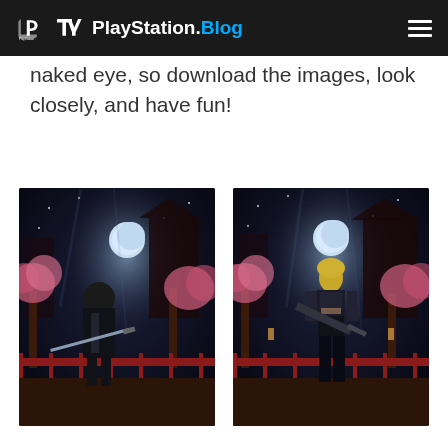PlayStation.Blog
naked eye, so download the images, look closely, and have fun!
[Figure (photo): Two video game character screenshots side by side from a ninja/action game set at night with cherry blossoms and Japanese temple architecture. Left image shows a male ninja character in black armor holding a sword. Right image shows a female character in black armor holding a large weapon. Both scenes feature a blue moon in the background.]